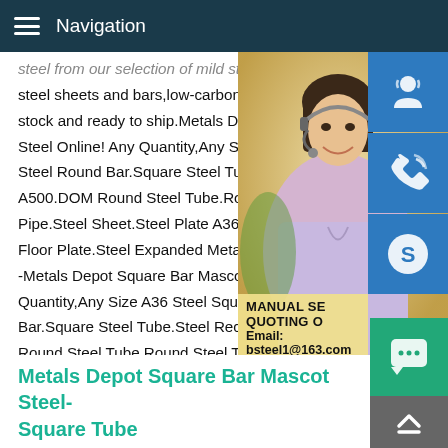Navigation
steel sheets and bars,low-carbon steel roc stock and ready to ship.Metals Depot Squ Steel Online! Any Quantity,Any Size A36 S Steel Round Bar.Square Steel Tube.Steel A500.DOM Round Steel Tube.Round Stee Pipe.Steel Sheet.Steel Plate A36.High Str Floor Plate.Steel Expanded Metal.Steel Pe -Metals Depot Square Bar Mascot SteelBu Quantity,Any Size A36 Steel Square Bar.A Bar.Square Steel Tube.Steel Rectangle TU Round Steel Tube.Round Steel Tube - Welded.Steel Pipe.Steel Sheet.Steel Plate A36.High Strength Steel Plate.Steel Floor Plate.Steel Expanded Metal.Steel Perforated Sheet.Grip Strut.
[Figure (photo): Photo of a smiling woman wearing a headset, with a yellow/warm background. Overlaid with blue icon buttons for customer service, phone, and Skype. An overlay box shows text: MANUAL SE, QUOTING O, Email: bsteel1@163.com]
Metals Depot Square Bar Mascot Steel-Square Tube